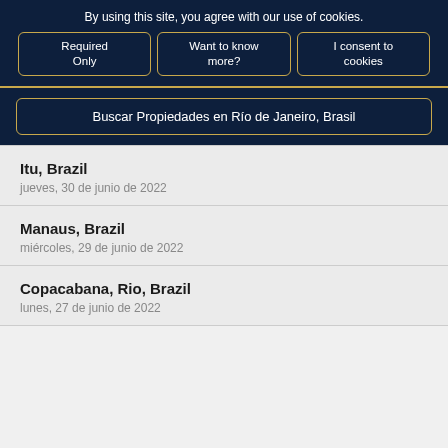By using this site, you agree with our use of cookies.
Required Only
Want to know more?
I consent to cookies
Buscar Propiedades en Río de Janeiro, Brasil
Itu, Brazil
jueves, 30 de junio de 2022
Manaus, Brazil
miércoles, 29 de junio de 2022
Copacabana, Rio, Brazil
lunes, 27 de junio de 2022